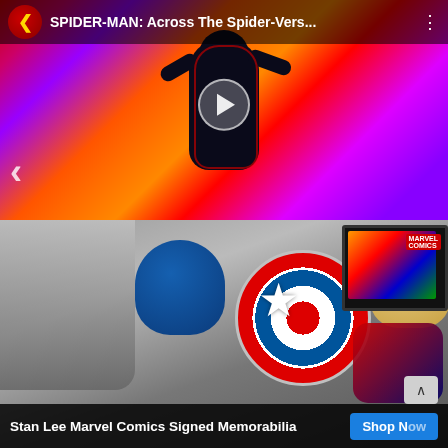[Figure (screenshot): Video thumbnail showing Spider-Man: Across the Spider-Verse movie artwork. Features Miles Morales Spider-Man in black and red suit against a vivid psychedelic red, orange, purple background. A video player play button is centered. Top bar shows a red circle logo with gold K, the title 'SPIDER-MAN: Across The Spider-Vers...' and a three-dot menu. Left side shows a back chevron arrow.]
[Figure (screenshot): Photo of Stan Lee Marvel Comics signed memorabilia. Shows a gray-toned image of Stan Lee signing, surrounded by: a blue Captain America mask with 'A' on it, a Captain America red/white/blue shield with star (signed), an Iron Man gold/red mask (signed), a framed Marvel Comics group artwork print, and what appears to be a Spider-Man themed guitar at bottom right.]
Stan Lee Marvel Comics Signed Memorabilia
Shop Now